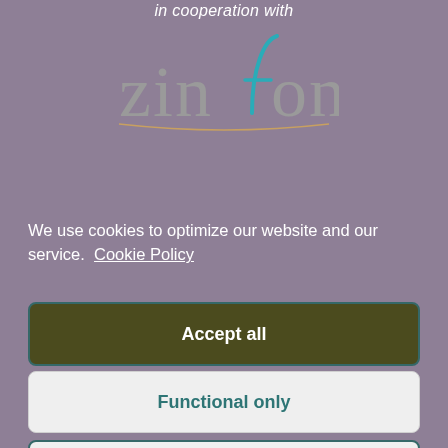in cooperation with
[Figure (logo): Zinfonia logo with stylized 'f' in teal/blue and rest of wordmark in gray]
We use cookies to optimize our website and our service.  Cookie Policy
Accept all
Functional only
View preferences